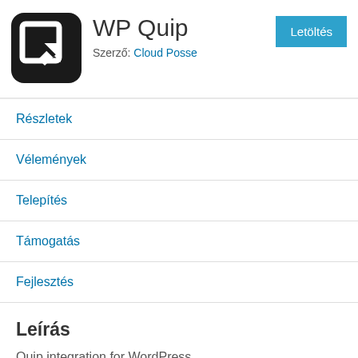[Figure (logo): WP Quip plugin logo — black rounded square with a white Q-like arrow icon]
WP Quip
Szerző: Cloud Posse
Letöltés
Részletek
Vélemények
Telepítés
Támogatás
Fejlesztés
Leírás
Quip integration for WordPress